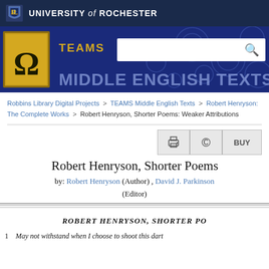[Figure (logo): University of Rochester logo and header bar with dark navy background]
[Figure (logo): TEAMS Middle English Texts banner with search bar on blue decorative background]
Robbins Library Digital Projects > TEAMS Middle English Texts > Robert Henryson: The Complete Works > Robert Henryson, Shorter Poems: Weaker Attributions
Robert Henryson, Shorter Poems:
by: Robert Henryson (Author) , David J. Parkinson (Editor)
ROBERT HENRYSON, SHORTER POEMS:
1 May not withstand when I choose to shoot this dart